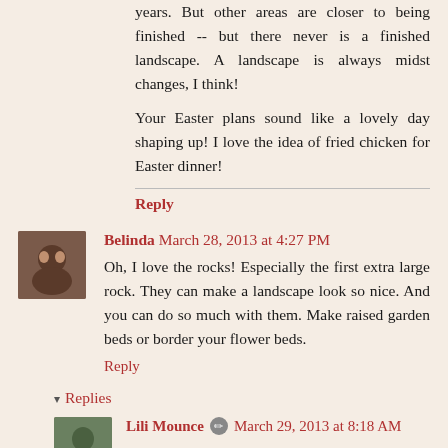years. But other areas are closer to being finished -- but there never is a finished landscape. A landscape is always midst changes, I think!
Your Easter plans sound like a lovely day shaping up! I love the idea of fried chicken for Easter dinner!
Reply
Belinda March 28, 2013 at 4:27 PM
Oh, I love the rocks! Especially the first extra large rock. They can make a landscape look so nice. And you can do so much with them. Make raised garden beds or border your flower beds.
Reply
Replies
Lili Mounce March 29, 2013 at 8:18 AM